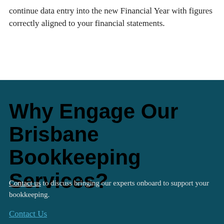continue data entry into the new Financial Year with figures correctly aligned to your financial statements.
Why Engage Our Brisbane Bookkeeping Services?
Contact us to discuss bringing our experts onboard to support your bookkeeping.
Contact Us